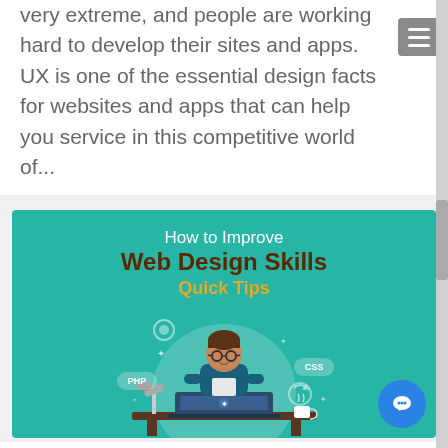very extreme, and people are working hard to develop their sites and apps. UX is one of the essential design facts for websites and apps that can help you service in this competitive world of...
[Figure (illustration): Infographic banner with teal background showing 'How to Improve Web Design Skills - Quick Tips' with an illustration of a person sitting at a desk with a laptop, surrounded by icons for PHP, CSS, and other web technologies.]